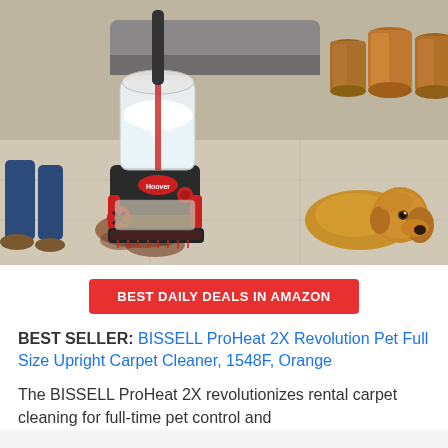[Figure (photo): A Hoover carpet cleaner machine (black and red) being used on a light gray carpet with a brown stain/spill visible. A golden retriever dog is lying on the carpet in the right background. Copper/bronze decorative vases and a gray sofa are visible in the background. A person's jeans and shoes are partially visible on the left.]
BEST DAILY DEALS IN AMAZON
BEST SELLER: BISSELL ProHeat 2X Revolution Pet Full Size Upright Carpet Cleaner, 1548F, Orange
The BISSELL ProHeat 2X revolutionizes rental carpet cleaning for full-time pet control and